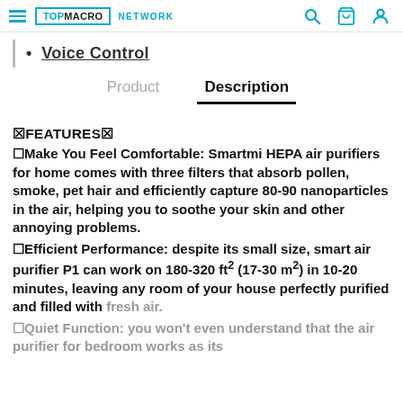TOPMACRO NETWORK
Voice Control
Product   Description
🟧FEATURES🟧
🟧Make You Feel Comfortable: Smartmi HEPA air purifiers for home comes with three filters that absorb pollen, smoke, pet hair and efficiently capture 80-90 nanoparticles in the air, helping you to soothe your skin and other annoying problems.
🟧Efficient Performance: despite its small size, smart air purifier P1 can work on 180-320 ft² (17-30 m²) in 10-20 minutes, leaving any room of your house perfectly purified and filled with fresh air.
🟧Quiet Function: you won't even understand that the air purifier for bedroom works as its